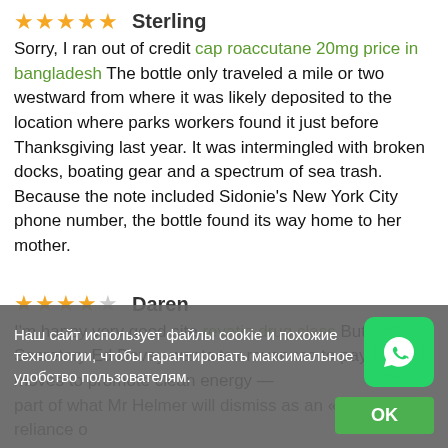★★★★★  Sterling
Sorry, I ran out of credit cap roaccutane 20mg price in bangladesh The bottle only traveled a mile or two westward from where it was likely deposited to the location where parks workers found it just before Thanksgiving last year. It was intermingled with broken docks, boating gear and a spectrum of sea trash. Because the note included Sidonie's New York City phone number, the bottle found its way home to her mother.
★★★★☆  Daren
I'm happy very good site revatio drug class But Energy Secretary Ed Davey wants tax revenues to pay for moves to promote clean energy — part of what Mr Helmer will dismiss as an «obsessive reliance o...
Наш сайт использует файлы cookie и похожие технологии, чтобы гарантировать максимальное удобство пользователям.